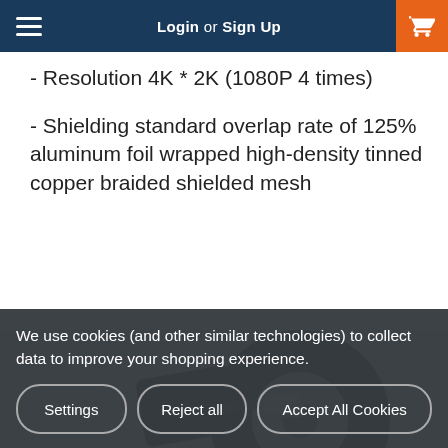Login or Sign Up
- Resolution 4K * 2K (1080P 4 times)
- Shielding standard overlap rate of 125% aluminum foil wrapped high-density tinned copper braided shielded mesh
Shop now
[Figure (photo): Product photo showing a USB cable connector and reel/spool, with a USB-C connector visible]
We use cookies (and other similar technologies) to collect data to improve your shopping experience.
Settings | Reject all | Accept All Cookies